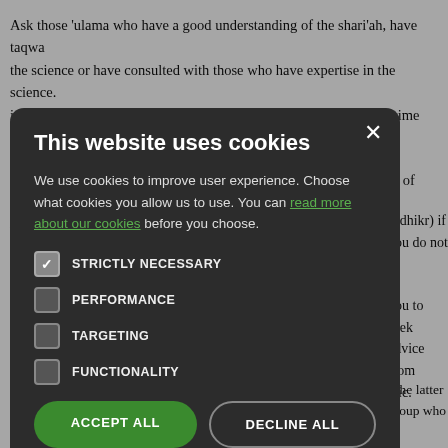Ask those 'ulama who have a good understanding of the shari'ah, have taqw the science or have consulted with those who have expertise in the science. in their communities and have been teaching the subject for some time and a
Allah, the Wise, has divided the Muslim community into two types of peopl
n-dhikr) if you do not kr
you to seek advice from atic.
f the latter group who ar uits them without verify d without question forv llen prey to this group a
[Figure (screenshot): Cookie consent modal dialog with dark background (#2c2c2c). Title: 'This website uses cookies'. Body text: 'We use cookies to improve user experience. Choose what cookies you allow us to use. You can read more about our cookies before you choose.' Four checkboxes: STRICTLY NECESSARY (checked), PERFORMANCE, TARGETING, FUNCTIONALITY. Two buttons: ACCEPT ALL (green) and DECLINE ALL (outlined).]
2.   Verify information before passing on to others*